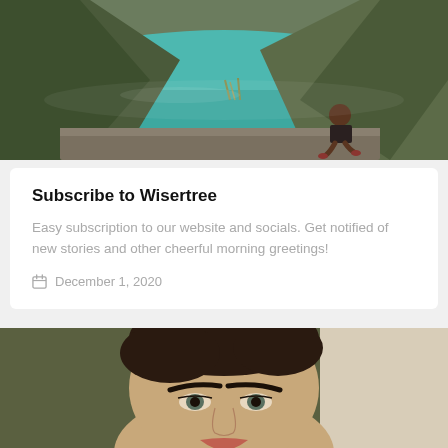[Figure (photo): Person sitting on a stone ledge overlooking a turquoise crater lake surrounded by rugged mountains and dry grass]
Subscribe to Wisertree
Easy subscription to our website and socials. Get notified of new stories and other cheerful morning greetings!
December 1, 2020
[Figure (photo): Close-up portrait of a woman with dark hair and bold eyebrows, looking slightly upward]